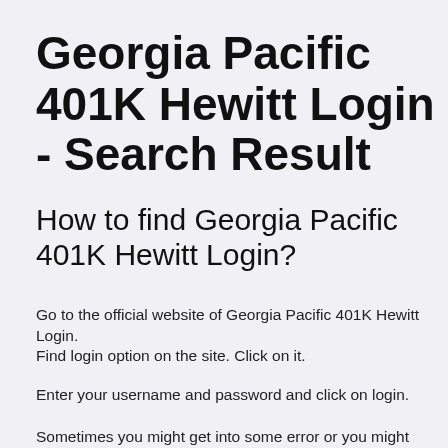Georgia Pacific 401K Hewitt Login - Search Result
How to find Georgia Pacific 401K Hewitt Login?
Go to the official website of Georgia Pacific 401K Hewitt Login.
Find login option on the site. Click on it.
Enter your username and password and click on login.
Sometimes you might get into some error or you might have forgot user name or password. In such case ping support of the same official site.